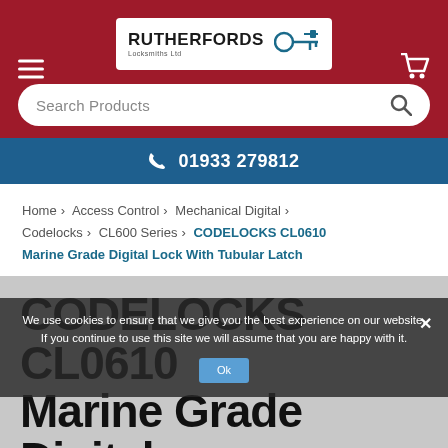[Figure (logo): Rutherfords Locksmiths Ltd logo with key icon]
Search Products
01933 279812
Home > Access Control > Mechanical Digital > Codelocks > CL600 Series > CODELOCKS CL0610 Marine Grade Digital Lock With Tubular Latch
CODELOCKS CL0610 Marine Grade Digital Lock With Tubular Latch
We use cookies to ensure that we give you the best experience on our website. If you continue to use this site we will assume that you are happy with it.